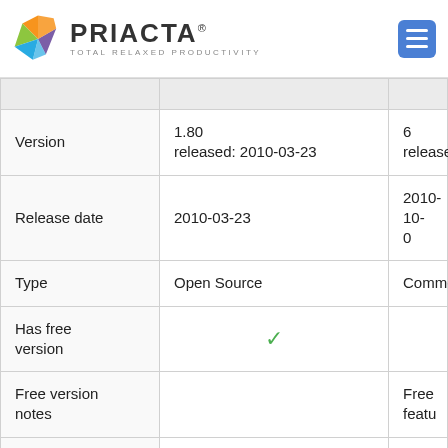PRIACTA® TOTAL RELAXED PRODUCTIVITY
|  |  |  |
| --- | --- | --- |
|  |  |  |
| Version | 1.80
released: 2010-03-23 | 6
released: |
| Release date | 2010-03-23 | 2010-10-0 |
| Type | Open Source | Commerc |
| Has free version | ✓ |  |
| Free version notes |  | Free featu |
| A paid version is | ☐ |  |